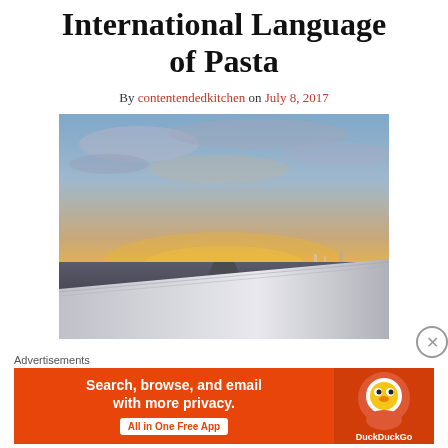International Language of Pasta
By contentendedkitchen on July 8, 2017
[Figure (photo): View from airplane wing over airport tarmac at sunset with dramatic orange and blue sky]
Advertisements
[Figure (screenshot): DuckDuckGo advertisement banner: Search, browse, and email with more privacy. All in One Free App]